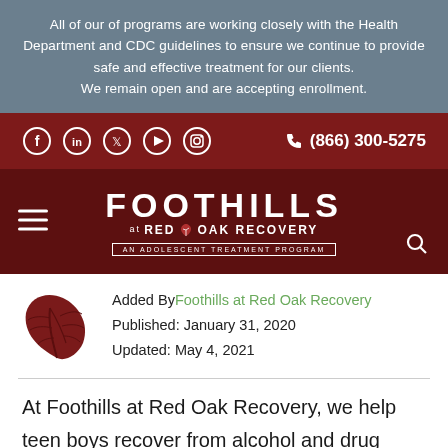All of our of programs are working closely with the Health Department and CDC guidelines to ensure we continue to provide safe and effective treatment for our clients.
We remain open and are accepting enrollment.
[Figure (screenshot): Dark red social media bar with Facebook, LinkedIn, Twitter, YouTube, Instagram icons and phone number (866) 300-5275]
[Figure (logo): Foothills at Red Oak Recovery logo with hamburger menu and search icon on dark red background]
Added By Foothills at Red Oak Recovery
Published: January 31, 2020
Updated: May 4, 2021
At Foothills at Red Oak Recovery, we help teen boys recover from alcohol and drug dependency and teach coping skills for teens in Ellenboro, NC. If you or your